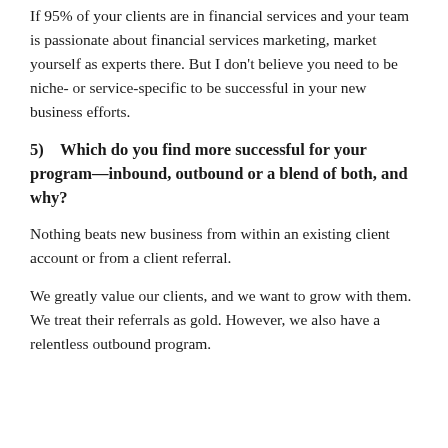If 95% of your clients are in financial services and your team is passionate about financial services marketing, market yourself as experts there. But I don't believe you need to be niche- or service-specific to be successful in your new business efforts.
5)    Which do you find more successful for your program—inbound, outbound or a blend of both, and why?
Nothing beats new business from within an existing client account or from a client referral.
We greatly value our clients, and we want to grow with them. We treat their referrals as gold. However, we also have a relentless outbound program.